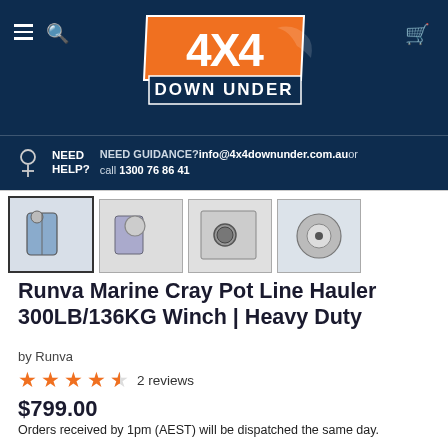4X4 DOWN UNDER — Navigation header with hamburger menu, search, and cart icons
NEED HELP? NEED GUIDANCE? info@4x4downunder.com.au or call 1300 76 86 41
[Figure (photo): Four thumbnail images of the product (Runva Marine Cray Pot Line Hauler winch), shown from different angles]
Runva Marine Cray Pot Line Hauler 300LB/136KG Winch | Heavy Duty
by Runva
4.5 stars — 2 reviews
$799.00
Orders received by 1pm (AEST) will be dispatched the same day.